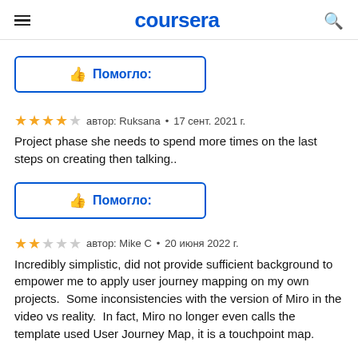coursera
Помогло:
автор: Ruksana • 17 сент. 2021 г.
Project phase she needs to spend more times on the last steps on creating then talking..
Помогло:
автор: Mike C • 20 июня 2022 г.
Incredibly simplistic, did not provide sufficient background to empower me to apply user journey mapping on my own projects.  Some inconsistencies with the version of Miro in the video vs reality.  In fact, Miro no longer even calls the template used User Journey Map, it is a touchpoint map.